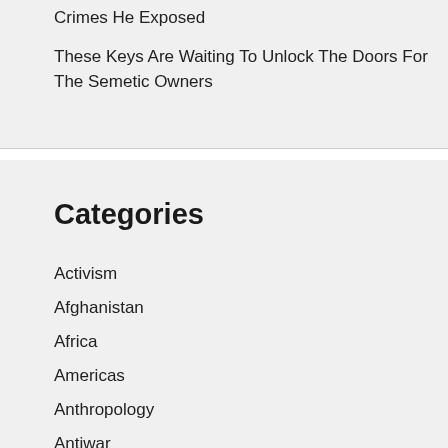Crimes He Exposed
These Keys Are Waiting To Unlock The Doors For The Semetic Owners
Categories
Activism
Afghanistan
Africa
Americas
Anthropology
Antiwar